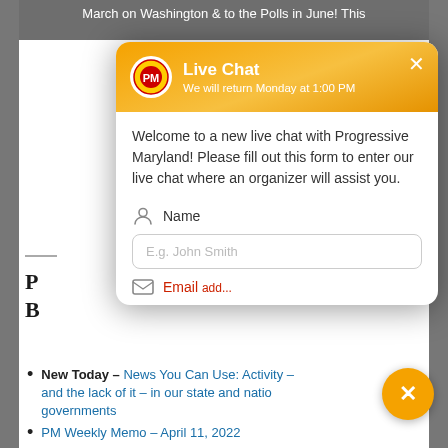March on Washington & to the Polls in June! This
[Figure (screenshot): Live Chat modal overlay from Progressive Maryland website. Header shows orange/yellow gradient with PM logo, title 'Live Chat', subtitle 'We will return Monday at 1:00 PM', and an X close button. Body contains welcome text, a Name field with placeholder 'E.g. John Smith', and a partially visible Email field.]
Welcome to a new live chat with Progressive Maryland! Please fill out this form to enter our live chat where an organizer will assist you.
Name
E.g. John Smith
P
B
W
th
H
fil
w
di...@progressivemaryland.org
New Today – News You Can Use: Activity – and the lack of it – in our state and national governments
PM Weekly Memo – April 11, 2022